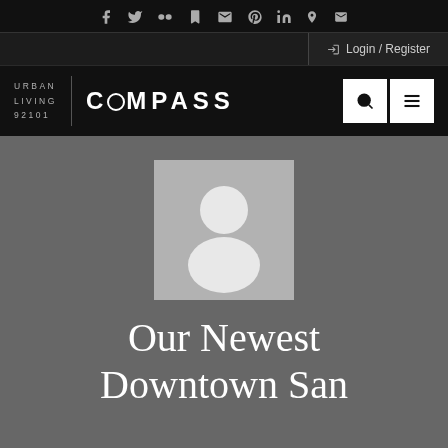Social media icons: f, twitter, flickr, foursquare, google, pinterest, linkedin, location, email
Login / Register
[Figure (logo): Urban Living 92101 | COMPASS logo with search and menu icons]
[Figure (illustration): Default user avatar placeholder image (grey background with white person silhouette)]
Our Newest Downtown San